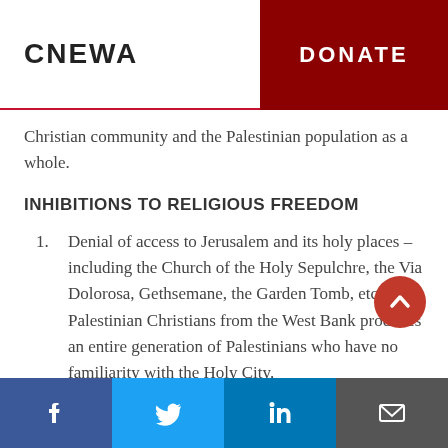CNEWA | DONATE
Christian community and the Palestinian population as a whole.
INHIBITIONS TO RELIGIOUS FREEDOM
Denial of access to Jerusalem and its holy places – including the Church of the Holy Sepulchre, the Via Dolorosa, Gethsemane, the Garden Tomb, etc. – to Palestinian Christians from the West Bank produces an entire generation of Palestinians who have no familiarity with the Holy City.
Social share buttons: Facebook, Twitter, LinkedIn, Email